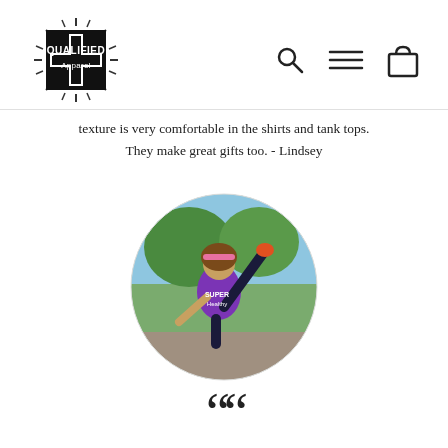Qualified Apparel [logo] [search icon] [menu icon] [cart icon]
texture is very comfortable in the shirts and tank tops. They make great gifts too. - Lindsey
[Figure (photo): A woman wearing a purple tank top doing a flexible yoga/dance pose outdoors, with trees in background. Circular crop photo.]
““